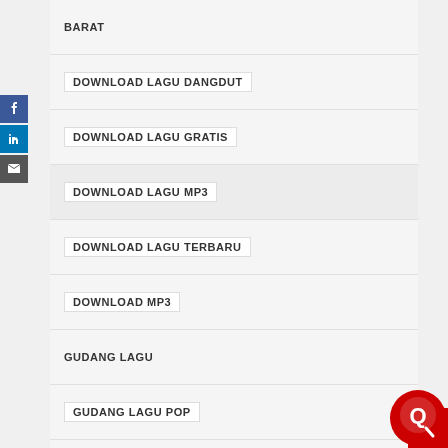BARAT
DOWNLOAD LAGU DANGDUT
DOWNLOAD LAGU GRATIS
DOWNLOAD LAGU MP3
DOWNLOAD LAGU TERBARU
DOWNLOAD MP3
GUDANG LAGU
GUDANG LAGU POP
INDO POP   LAGU
LAGU456Z.BIZ
LAGU MP3
LAGU POP
LAGU TERBARU
LOLITA DRESS